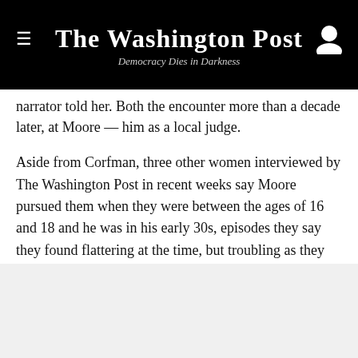The Washington Post — Democracy Dies in Darkness
narrator told her. Both the encounter more than a decade later, at Moore — him as a local judge.
Aside from Corfman, three other women interviewed by The Washington Post in recent weeks say Moore pursued them when they were between the ages of 16 and 18 and he was in his early 30s, episodes they say they found flattering at the time, but troubling as they got older. None of the three women say that Moore forced them into any sort of relationship or sexual contact.